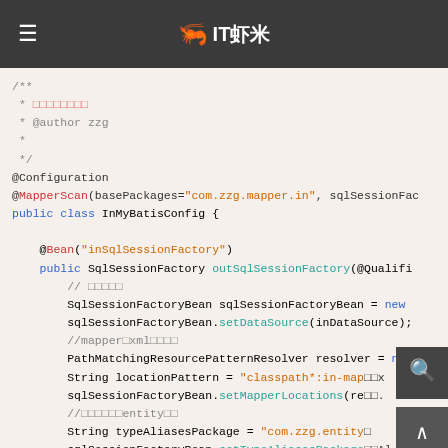IT虾米
[Figure (screenshot): Java code snippet showing MyBatis configuration with @Configuration, @MapperScan annotations, and SqlSessionFactory bean definition with DataSource, mapper XML locations, and type aliases package settings.]